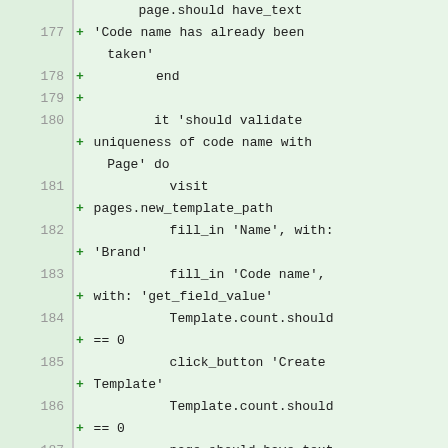Code diff view showing lines 177-187 of a Ruby test file with additions marked with '+' on a green background.